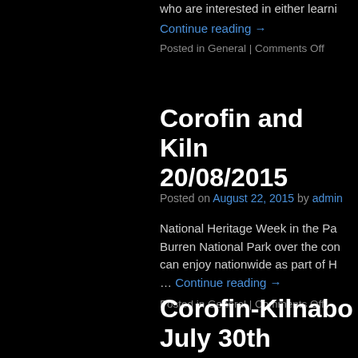who are interested in either learni…
Continue reading →
Posted in General | Comments Off
Corofin and Kiln 20/08/2015
Posted on August 22, 2015 by admin
National Heritage Week in the Pa Burren National Park over the con can enjoy nationwide as part of H … Continue reading →
Posted in General | Comments Off
Corofin-Kilnabo July 30th